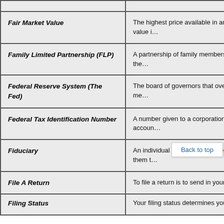| Term | Definition |
| --- | --- |
| Fair Market Value | The highest price available in an open and compulsory to transact. Fair market value i… |
| Family Limited Partnership (FLP) | A partnership of family members that helps partners and reduce potential liability to the… |
| Federal Reserve System (The Fed) | The board of governors that oversee the F… the economic health of the country. Its me… |
| Federal Tax Identification Number | A number given to a corporation or other b… identification number to open bank accoun… |
| Fiduciary | An individual who provides investment adv… holding assets in trust and investing them t… |
| File A Return | To file a return is to send in your completed… |
| Filing Status | Your filing status determines your tax… |